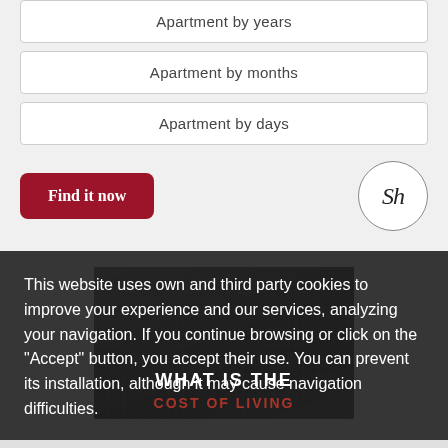Apartment by years
Apartment by months
Apartment by days
Find it now
[Figure (logo): Sh logo in a circle]
[Figure (photo): A hand holding a calculator over a laptop keyboard with text overlay: WHAT IS THE COST OF LIVING]
This website uses own and third party cookies to improve your experience and our services, analyzing your navigation. If you continue browsing or click on the "Accept" button, you accept their use. You can prevent its installation, although it may cause navigation difficulties.
OKAY
MORE INFO